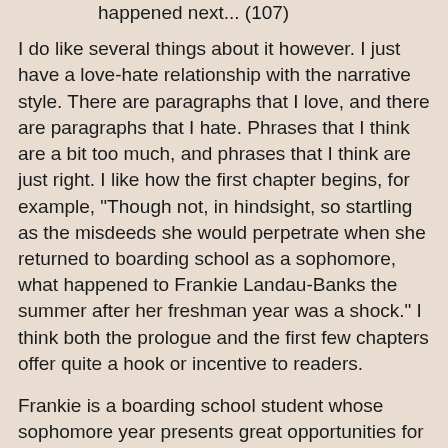happened next... (107)
I do like several things about it however. I just have a love-hate relationship with the narrative style. There are paragraphs that I love, and there are paragraphs that I hate. Phrases that I think are a bit too much, and phrases that I think are just right. I like how the first chapter begins, for example, "Though not, in hindsight, so startling as the misdeeds she would perpetrate when she returned to boarding school as a sophomore, what happened to Frankie Landau-Banks the summer after her freshman year was a shock." I think both the prologue and the first few chapters offer quite a hook or incentive to readers.
Frankie is a boarding school student whose sophomore year presents great opportunities for adventure and misadventure. She'll experience the ups and downs of having a relationship with a "popular" boy, a real somebody. Rich too. Her old friendships will be threatened by the aforementioned relationship and all that brings about. Frankie is smart. She's determined. She's got her own way of seeing the world. And none of those things are bad. All